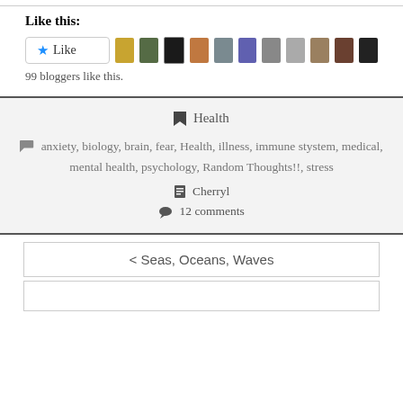Like this:
[Figure (other): Like button with star icon and row of blogger avatar thumbnails]
99 bloggers like this.
Health
anxiety, biology, brain, fear, Health, illness, immune stystem, medical, mental health, psychology, Random Thoughts!!, stress
Cherryl
12 comments
< Seas, Oceans, Waves